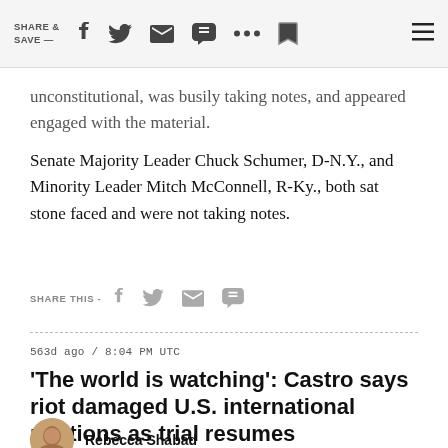SHARE & SAVE —
unconstitutional, was busily taking notes, and appeared engaged with the material.
Senate Majority Leader Chuck Schumer, D-N.Y., and Minority Leader Mitch McConnell, R-Ky., both sat stone faced and were not taking notes.
SHARE THIS -
563d ago / 8:04 PM UTC
'The world is watching': Castro says riot damaged U.S. international relations as trial resumes
Rebecca Shabad